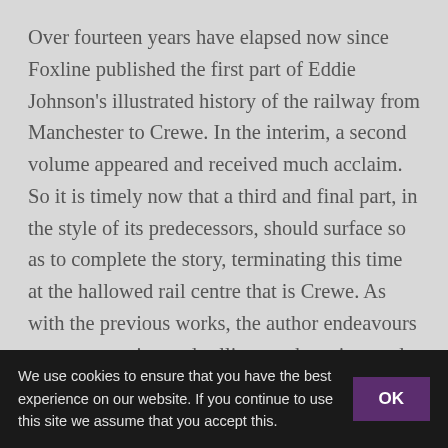Over fourteen years have elapsed now since Foxline published the first part of Eddie Johnson's illustrated history of the railway from Manchester to Crewe. In the interim, a second volume appeared and received much acclaim. So it is timely now that a third and final part, in the style of its predecessors, should surface so as to complete the story, terminating this time at the hallowed rail centre that is Crewe. As with the previous works, the author endeavours to cover traction and rolling stock ancient and modern along with a look at infrastructure. The section covering Crewe opens with a comprehensive look at events there in the early years of the twentieth century - watershed years when the reign of the legendary F.W.Webb was giving way to the eras of Whale and
We use cookies to ensure that you have the best experience on our website. If you continue to use this site we assume that you accept this.